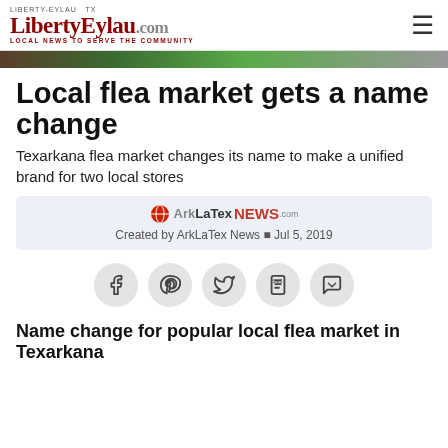LibertyEylau.com — LOCAL NEWS TO SERVE THE COMMUNITY
[Figure (photo): Hero image bar at top of article]
Local flea market gets a name change
Texarkana flea market changes its name to make a unified brand for two local stores
[Figure (logo): ArkLaTex News logo]
Created by ArkLaTex News · Jul 5, 2019
[Figure (infographic): Social sharing buttons: Facebook, Pinterest, Twitter, SMS, Messenger]
Name change for popular local flea market in Texarkana